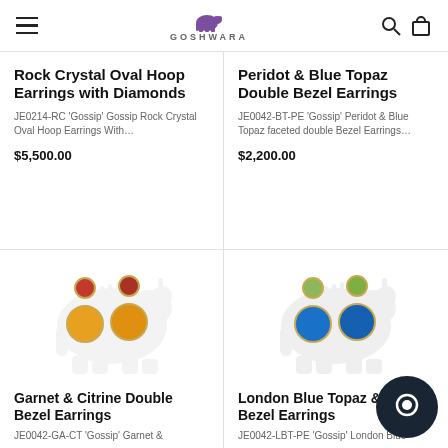GOSHWARA
Rock Crystal Oval Hoop Earrings with Diamonds
JE0214-RC 'Gossip' Gossip Rock Crystal Oval Hoop Earrings With…
$5,500.00
Peridot & Blue Topaz Double Bezel Earrings
JE0042-BT-PE 'Gossip' Peridot & Blue Topaz faceted double Bezel Earrings…
$2,200.00
[Figure (photo): Garnet & Citrine Double Bezel Earrings jewelry photo on rhino watermark background]
Garnet & Citrine Double Bezel Earrings
JE0042-GA-CT 'Gossip' Garnet &
[Figure (photo): London Blue Topaz Double Bezel Earrings jewelry photo on rhino watermark background]
London Blue Topaz & Double Bezel Earrings
JE0042-LBT-PE 'Gossip' London Blue